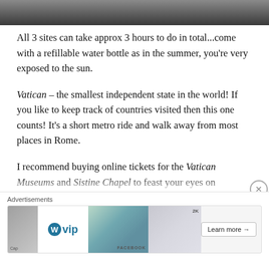[Figure (photo): Partial photo strip at top of page showing dark/shadowed outdoor scene]
All 3 sites can take approx 3 hours to do in total...come with a refillable water bottle as in the summer, you're very exposed to the sun.
Vatican – the smallest independent state in the world! If you like to keep track of countries visited then this one counts! It's a short metro ride and walk away from most places in Rome.
I recommend buying online tickets for the Vatican Museums and Sistine Chapel to feast your eyes on beautiful artwork, painted ceilings and statues. The Sistine Chapel requires you to cover up shoulders and...
Advertisements
[Figure (screenshot): Advertisement banner for WordPress VIP with logo and Learn more button]